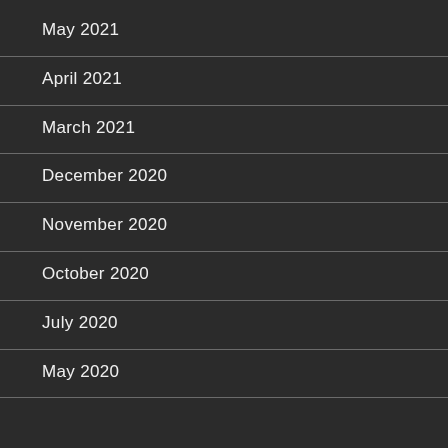May 2021
April 2021
March 2021
December 2020
November 2020
October 2020
July 2020
May 2020